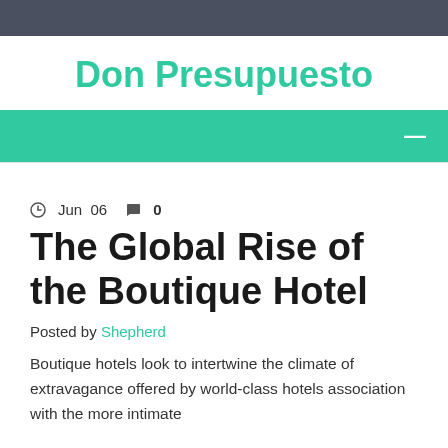Don Presupuesto
Jun 06  0
The Global Rise of the Boutique Hotel
Posted by Shepherd
Boutique hotels look to intertwine the climate of extravagance offered by world-class hotels association with the more intimate